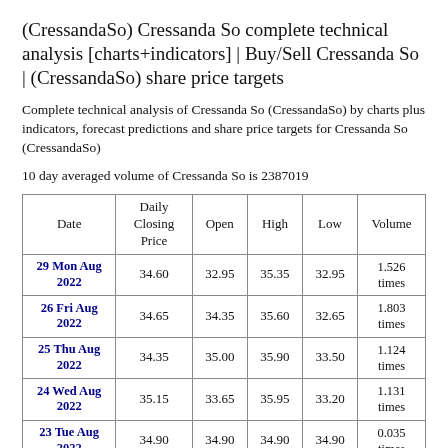(CressandaSo) Cressanda So complete technical analysis [charts+indicators] | Buy/Sell Cressanda So | (CressandaSo) share price targets
Complete technical analysis of Cressanda So (CressandaSo) by charts plus indicators, forecast predictions and share price targets for Cressanda So (CressandaSo)
10 day averaged volume of Cressanda So is 2387019
| Date | Daily Closing Price | Open | High | Low | Volume |
| --- | --- | --- | --- | --- | --- |
| 29 Mon Aug 2022 | 34.60 | 32.95 | 35.35 | 32.95 | 1.526 times |
| 26 Fri Aug 2022 | 34.65 | 34.35 | 35.60 | 32.65 | 1.803 times |
| 25 Thu Aug 2022 | 34.35 | 35.00 | 35.90 | 33.50 | 1.124 times |
| 24 Wed Aug 2022 | 35.15 | 33.65 | 35.95 | 33.20 | 1.131 times |
| 23 Tue Aug 2022 | 34.90 | 34.90 | 34.90 | 34.90 | 0.035 times |
| 22 Mon Aug | 36.70 | 37.00 | 37.45 | 36.70 | 0.182 |